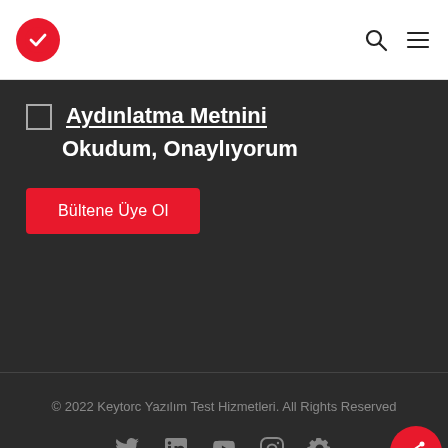[Figure (logo): Red circular checkmark logo]
Aydınlatma Metnini Okudum, Onaylıyorum
Bültene Üye Ol
© 2022 Keytorc Yazılım Test Hizmetleri. All Rights Reserved
[Figure (other): Social media icons: Twitter, LinkedIn, YouTube, Instagram, Settings/gear, and a red share button]